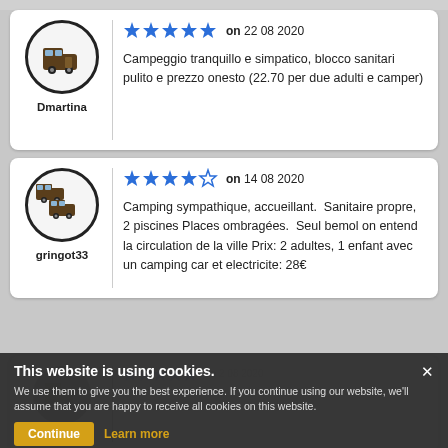[Figure (other): User avatar icon for Dmartina — campervan/RV icon in a circle]
Dmartina
[Figure (other): 5 blue stars rating]
on 22 08 2020
Campeggio tranquillo e simpatico, blocco sanitari pulito e prezzo onesto (22.70 per due adulti e camper)
[Figure (other): User avatar icon for gringot33 — two campervan icons in a circle]
gringot33
[Figure (other): 4 blue stars and 1 empty star rating (4/5)]
on 14 08 2020
Camping sympathique, accueillant.  Sanitaire propre, 2 piscines Places ombragées.  Seul bemol on entend la circulation de la ville Prix: 2 adultes, 1 enfant avec un camping car et electricite: 28€
[Figure (other): Partial third review avatar for tourneurfamily]
tourneurfamily
Camping très sympathique, calme à echelle humaine qui permet une occupation sans que le camping n'est pas surpeuplée
This website is using cookies. We use them to give you the best experience. If you continue using our website, we'll assume that you are happy to receive all cookies on this website.
Continue  Learn more